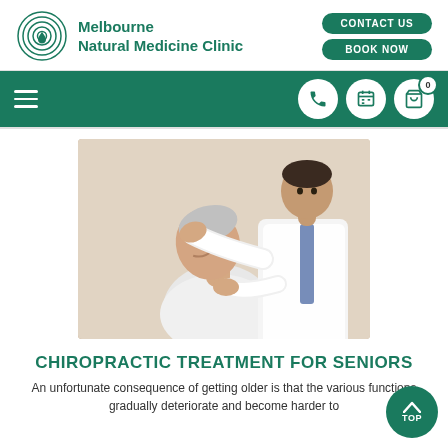[Figure (logo): Melbourne Natural Medicine Clinic spiral logo in teal/green]
Melbourne Natural Medicine Clinic
CONTACT US
BOOK NOW
[Figure (photo): A doctor in white coat performing chiropractic neck adjustment on an older male patient]
CHIROPRACTIC TREATMENT FOR SENIORS
An unfortunate consequence of getting older is that the various functions gradually deteriorate and become harder to